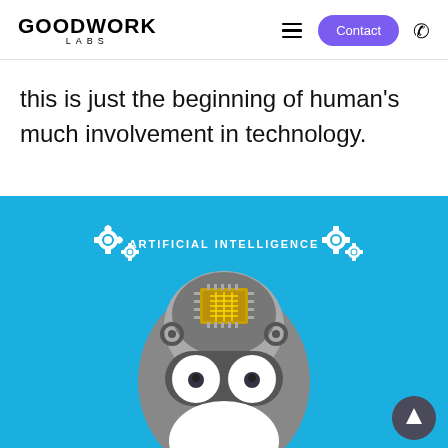GOODWORK LABS
this is just the beginning of human's much involvement in technology.
[Figure (illustration): Artificial Intelligence illustration showing a robot/android head with a computer chip visible in the transparent top of its skull, large goggle-like eyes, white mouth area, on a bright blue background. Text reads 'ARTIFICIAL INTELLIGENCE' with gear icons on either side.]